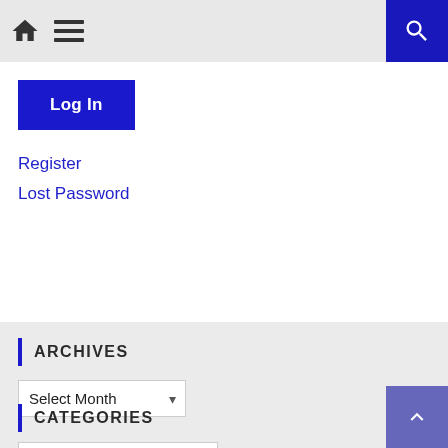Navigation bar with home icon, menu icon, and search button
Log In
Register
Lost Password
ARCHIVES
Select Month
CATEGORIES
Select Category